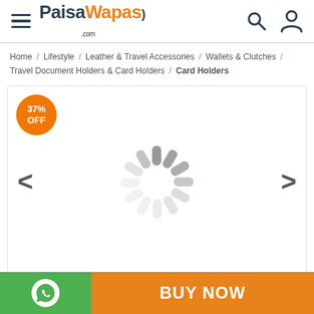PaisaWapas.com
Home / Lifestyle / Leather & Travel Accessories / Wallets & Clutches / Travel Document Holders & Card Holders / Card Holders
[Figure (photo): Product image area with 37% OFF badge, loading spinner, and left/right navigation arrows]
BUY NOW